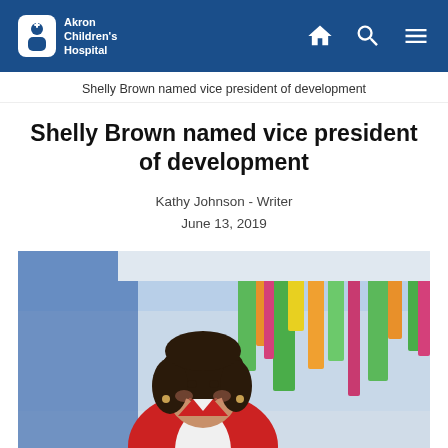Akron Children's Hospital
Shelly Brown named vice president of development
Shelly Brown named vice president of development
Kathy Johnson - Writer
June 13, 2019
[Figure (photo): Professional portrait of Shelly Brown, a woman with dark bob-length hair, wearing a red blazer, smiling, standing in front of colorful vertical hanging installations in blues, greens, oranges, and pinks in what appears to be a children's hospital lobby.]